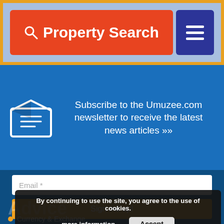Property Search
Subscribe to the Umuzee.com newsletter to receive the latest news articles »»
Email *
Sign me up!
By continuing to use the site, you agree to the use of cookies.
more information
Accept
Advice
Currency & Exchange